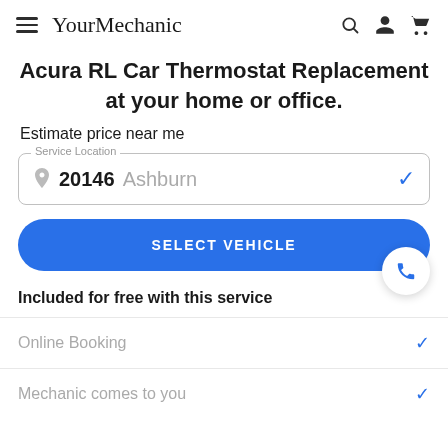≡ YourMechanic 🔍 👤 🛒
Acura RL Car Thermostat Replacement at your home or office.
Estimate price near me
Service Location — 20146 Ashburn ✓
SELECT VEHICLE
Included for free with this service
Online Booking ✓
Mechanic comes to you ✓